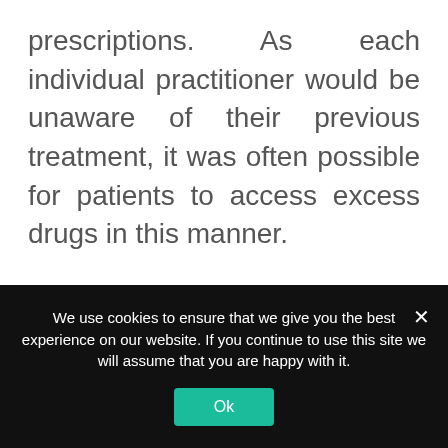prescriptions. As each individual practitioner would be unaware of their previous treatment, it was often possible for patients to access excess drugs in this manner.
EPCS prevents this type of ‘doctor shopping’ and enables the medical community to keep comprehensive records, particularly when it comes to restricted medications. Physicians and pharmacists will be able to view patient records and see when the patient was last prescribed particular medications, regardless of which
We use cookies to ensure that we give you the best experience on our website. If you continue to use this site we will assume that you are happy with it.